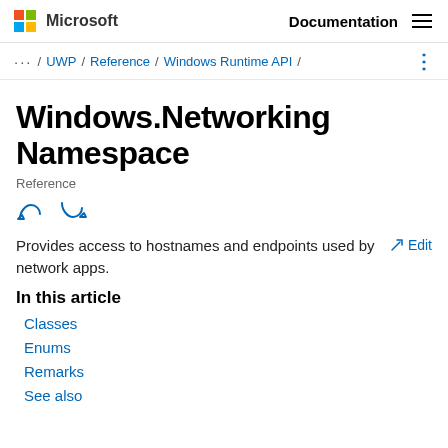Microsoft | Documentation
... / UWP / Reference / Windows Runtime API /
Windows.Networking Namespace
Reference
Provides access to hostnames and endpoints used by network apps.
In this article
Classes
Enums
Remarks
See also